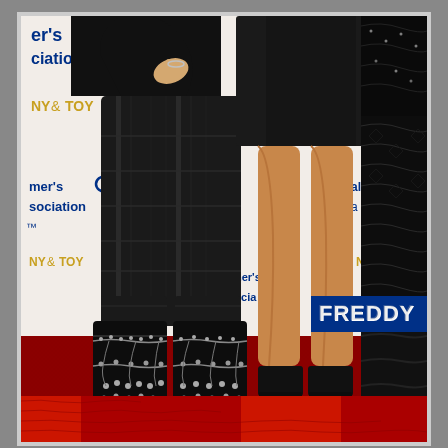[Figure (photo): Red carpet event photo showing the lower bodies of three women standing on a red carpet in front of an Alzheimer's Association and NY&TOY branded step-and-repeat banner. The woman on the left wears black leather pants and tall black studded chain-detail boots. The woman in the center wears a short black dress and black platform heels showing bare tanned legs. The woman on the right wears black lace leggings and tall black leather boots. A 'FREDDY' watermark logo appears in the lower right area of the image.]